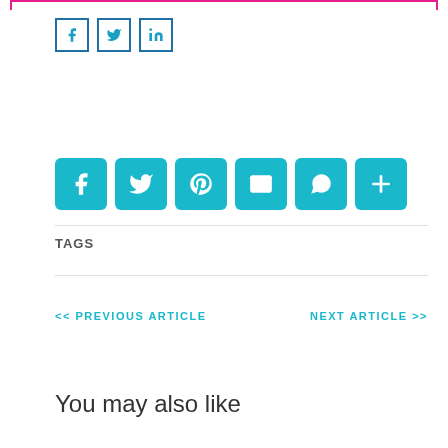[Figure (other): Top pink/magenta banner strip at top of page]
[Figure (other): Small outline social media share icons: Facebook (f), Twitter (bird), LinkedIn (in)]
[Figure (other): Large teal rounded square social share buttons: Facebook, Twitter, Pinterest, Email, WhatsApp, Plus/More]
TAGS
<< PREVIOUS ARTICLE
NEXT ARTICLE >>
You may also like